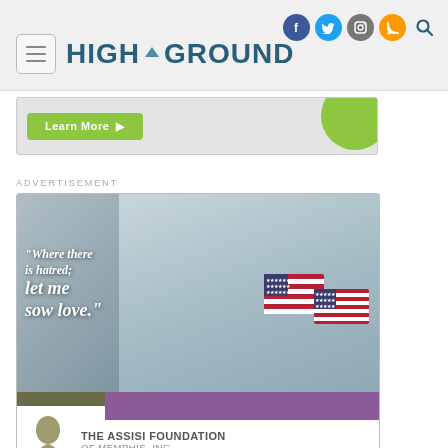HIGH GROUND
[Figure (screenshot): Website screenshot showing HIGH GROUND logo with hamburger menu and social media icons (Facebook, Twitter, Instagram, RSS, Search)]
[Figure (photo): Advertisement banner with green Learn More button]
ADVERTISEMENT
[Figure (photo): Assisi Foundation of Memphis advertisement with a child holding American flags and quote: Where there is hatred; let me sow love. Shows The Assisi Foundation of Memphis, Inc. logo.]